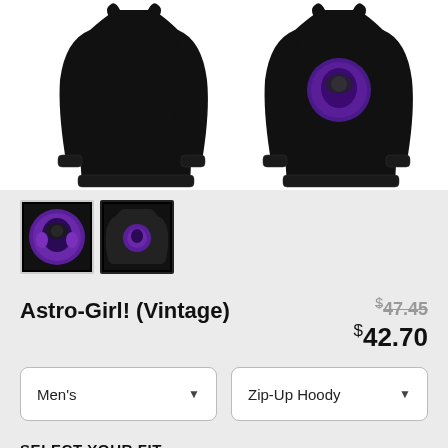[Figure (photo): Black zip-up hoodie shown from front and back on white background]
[Figure (photo): Two product thumbnails: one showing Astro-Girl character logo (purple/black), one showing back of black hoodie with character logo]
Astro-Girl! (Vintage)
$47.45 (original price, strikethrough) $42.70 (sale price)
Men's dropdown | Zip-Up Hoody dropdown
SELECT YOUR FIT